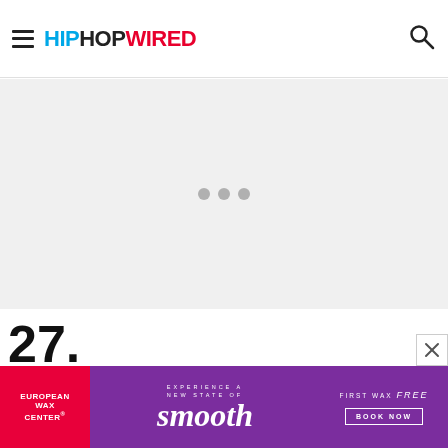HIPHOPWIRED
[Figure (other): Ad placeholder area with three grey loading dots on light grey background]
27.
28.
[Figure (other): European Wax Center advertisement banner: Experience a New State of smooth. First Wax free. Book Now.]